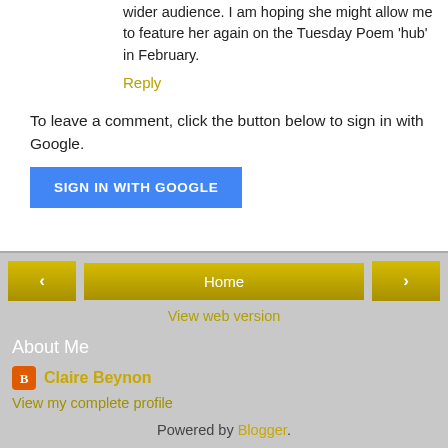wider audience. I am hoping she might allow me to feature her again on the Tuesday Poem 'hub' in February.
Reply
To leave a comment, click the button below to sign in with Google.
[Figure (other): Blue 'SIGN IN WITH GOOGLE' button]
[Figure (other): Navigation bar with left arrow, Home button, right arrow]
View web version
About Me
Claire Beynon
View my complete profile
Powered by Blogger.